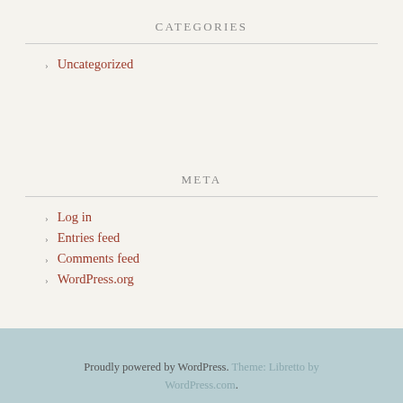CATEGORIES
Uncategorized
META
Log in
Entries feed
Comments feed
WordPress.org
Proudly powered by WordPress. Theme: Libretto by WordPress.com.